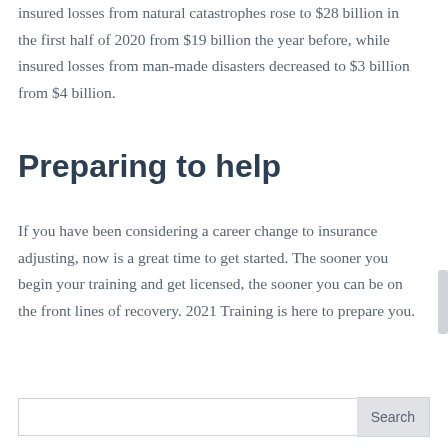insured losses from natural catastrophes rose to $28 billion in the first half of 2020 from $19 billion the year before, while insured losses from man-made disasters decreased to $3 billion from $4 billion.
Preparing to help
If you have been considering a career change to insurance adjusting, now is a great time to get started. The sooner you begin your training and get licensed, the sooner you can be on the front lines of recovery. 2021 Training is here to prepare you.